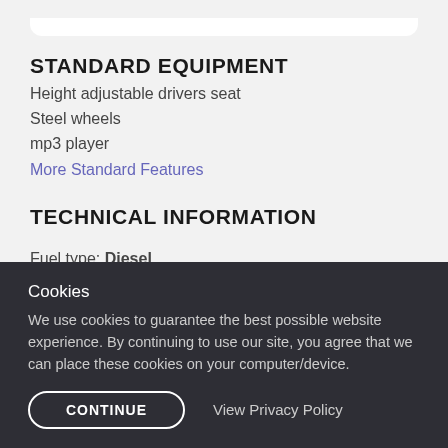STANDARD EQUIPMENT
Height adjustable drivers seat
Steel wheels
mp3 player
More Standard Features
TECHNICAL INFORMATION
Fuel type: Diesel
Gearbox: Automatic
Cookies
We use cookies to guarantee the best possible website experience. By continuing to use our site, you agree that we can place these cookies on your computer/device.
CONTINUE
View Privacy Policy